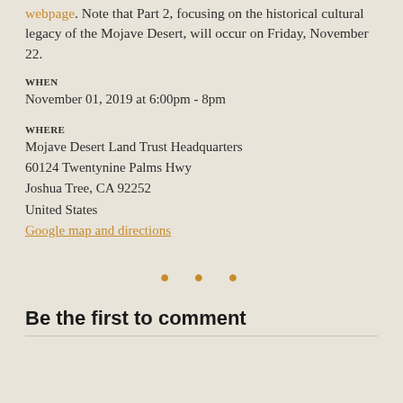webpage. Note that Part 2, focusing on the historical cultural legacy of the Mojave Desert, will occur on Friday, November 22.
WHEN
November 01, 2019 at 6:00pm - 8pm
WHERE
Mojave Desert Land Trust Headquarters
60124 Twentynine Palms Hwy
Joshua Tree, CA 92252
United States
Google map and directions
• • •
Be the first to comment